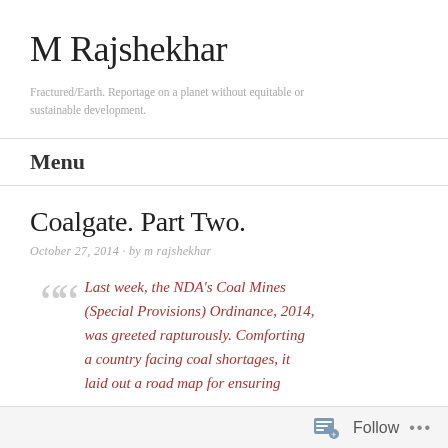M Rajshekhar
Fractured/Earth. Reportage on a planet without equitable or sustainable development.
Menu
Coalgate. Part Two.
October 27, 2014 · by m rajshekhar
Last week, the NDA's Coal Mines (Special Provisions) Ordinance, 2014, was greeted rapturously. Comforting a country facing coal shortages, it laid out a road map for ensuring
Follow ...